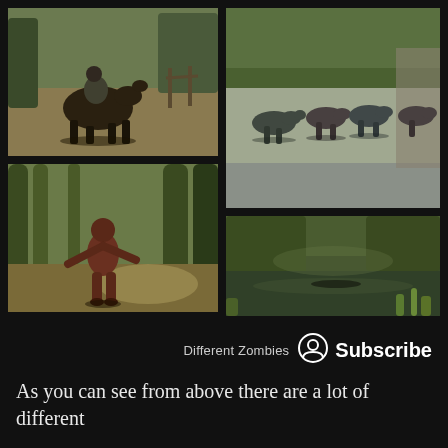[Figure (screenshot): Four video game screenshots arranged in a 2x2 grid on a dark background. Top-left: a figure on horseback in a rural outdoor setting. Top-right: several large animal creatures (zombie-like) walking across a paved road in a park-like environment. Bottom-left: a zombie-like humanoid creature standing upright in a forested area. Bottom-right: a dark swampy or river scene with trees and vegetation, and a partially submerged creature or log visible in water.]
Different Zombies
Subscribe
As you can see from above there are a lot of different